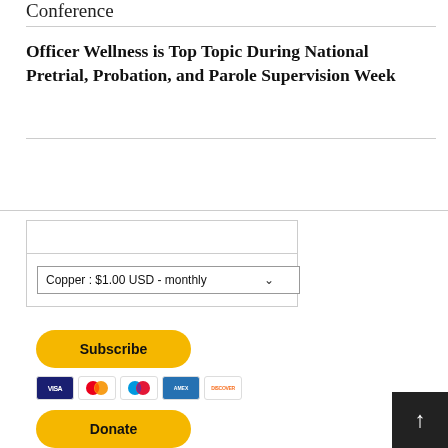Conference
Officer Wellness is Top Topic During National Pretrial, Probation, and Parole Supervision Week
[Figure (screenshot): Subscription widget with dropdown selector showing 'Copper : $1.00 USD - monthly', a yellow Subscribe button, payment card icons (Visa, Mastercard, another card, American Express, Discover), and a partially visible yellow Donate button. A dark scroll-to-top button is in the bottom-right corner.]